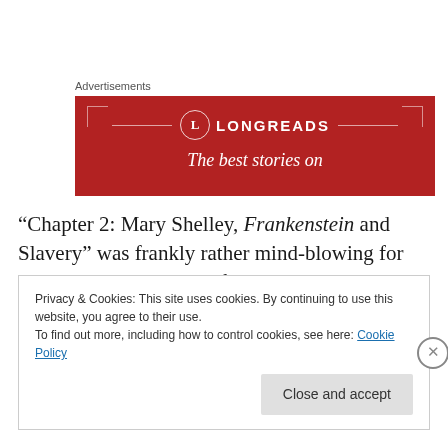Advertisements
[Figure (illustration): Longreads advertisement banner with red background, Longreads logo with circle L, and text 'The best stories on']
“Chapter 2: Mary Shelley, Frankenstein and Slavery” was frankly rather mind-blowing for me. In the past, I have often thought I could just not possibly read one more
Privacy & Cookies: This site uses cookies. By continuing to use this website, you agree to their use.
To find out more, including how to control cookies, see here: Cookie Policy